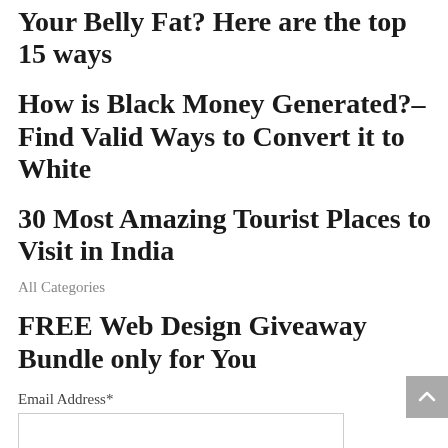Your Belly Fat? Here are the top 15 ways
How is Black Money Generated?– Find Valid Ways to Convert it to White
30 Most Amazing Tourist Places to Visit in India
All Categories
FREE Web Design Giveaway Bundle only for You
Email Address*
Name